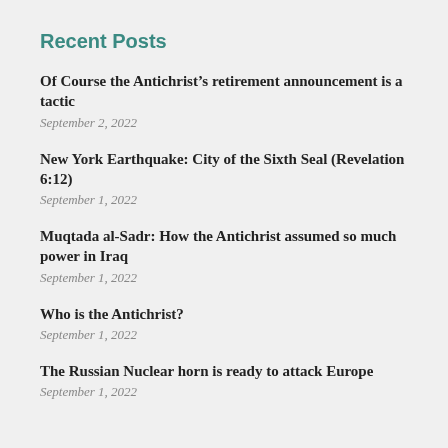Recent Posts
Of Course the Antichrist’s retirement announcement is a tactic
September 2, 2022
New York Earthquake: City of the Sixth Seal (Revelation 6:12)
September 1, 2022
Muqtada al-Sadr: How the Antichrist assumed so much power in Iraq
September 1, 2022
Who is the Antichrist?
September 1, 2022
The Russian Nuclear horn is ready to attack Europe
September 1, 2022